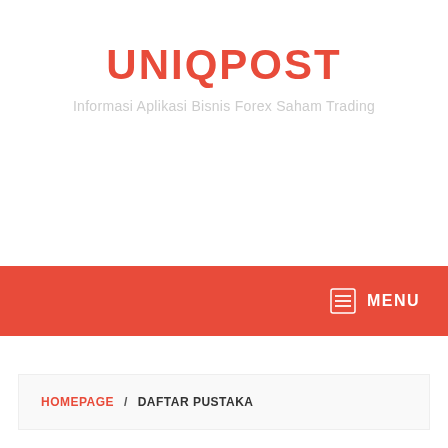UNIQPOST
Informasi Aplikasi Bisnis Forex Saham Trading
MENU
HOMEPAGE / DAFTAR PUSTAKA